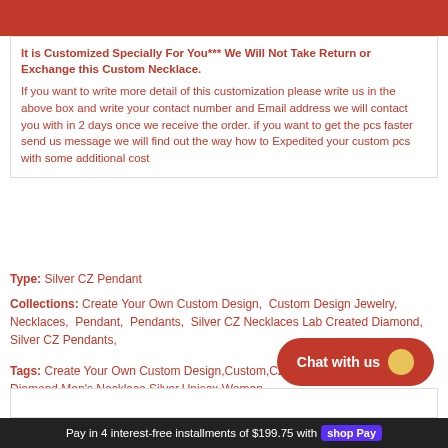It is Customized Specially For You*** We Will Not Take Return or Exchange this Custom Necklace.
If you want to write more detail of this customization please write us in the above box and write your contact number and Email address we will contact you with in 2 days once we receive the order. if you want to get the pcs faster send us message we will find out the way how to Expedited your custom pcs with some additional cost
Type: Silver CZ Pendant
Collections: Create Your Own Custom Design,  Custom Design Jewelry,  Necklaces,  Pendant,  Pendants,  Silver CZ Necklaces Lab Created Diamond,  Silver CZ Pendants,
Tags: Create Your Own Custom Design,Custom,CZ,Lab created Diamond,Men's,Necklace,Silver,Unisex,Women
Pay in 4 interest-free installments of $199.75 with shop Pay